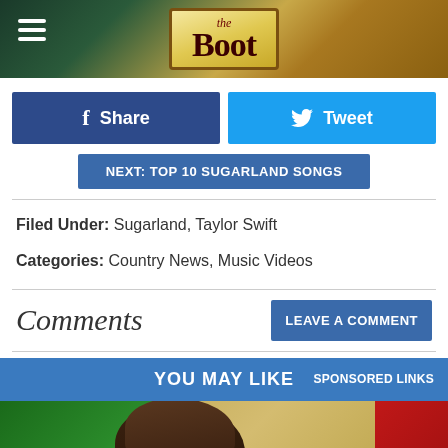the Boot
Share
Tweet
NEXT: TOP 10 SUGARLAND SONGS
Filed Under: Sugarland, Taylor Swift
Categories: Country News, Music Videos
Comments
LEAVE A COMMENT
YOU MAY LIKE
SPONSORED LINKS
[Figure (photo): Photo of a person in front of a colorful background with green, gold, and red sections]